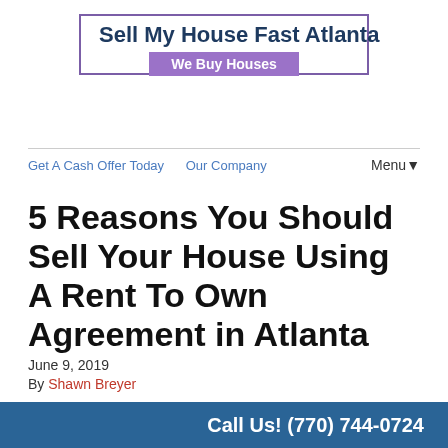[Figure (logo): Sell My House Fast Atlanta logo with purple border and 'We Buy Houses' badge]
Get A Cash Offer Today   Our Company   Menu▼
5 Reasons You Should Sell Your House Using A Rent To Own Agreement in Atlanta
June 9, 2019
By Shawn Breyer
Do you have a property you want to sell in the Atlanta area? For more!
Call Us! (770) 744-0724